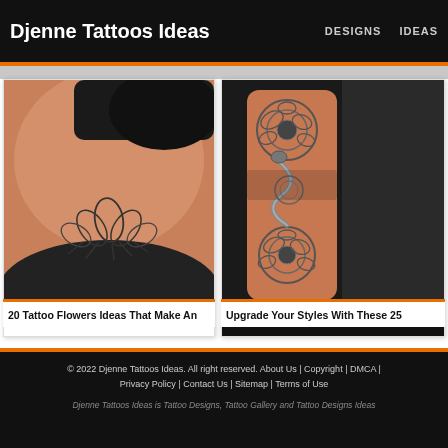Djenne Tattoos Ideas | DESIGNS | IDEAS
[Figure (photo): Woman's shoulder with a lotus/flower tattoo, close-up photo with warm skin tones]
20 Tattoo Flowers Ideas That Make An
[Figure (photo): Forearm tattoo with roses and a dragon/snake design in black and grey]
Upgrade Your Styles With These 25
© 2022 Djenne Tattoos Ideas. All right reserved. About Us | Copyright | DMCA | Privacy Policy | Contact Us | Sitemap | Terms of Use
Djenne Tattoos Ideas is Tattoo Designs, Tattoo Gallery and Tattoo Designs Ideas